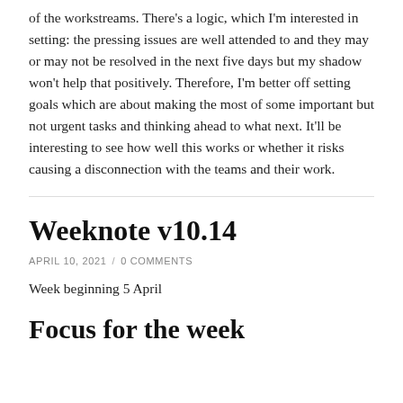of the workstreams. There's a logic, which I'm interested in setting: the pressing issues are well attended to and they may or may not be resolved in the next five days but my shadow won't help that positively. Therefore, I'm better off setting goals which are about making the most of some important but not urgent tasks and thinking ahead to what next. It'll be interesting to see how well this works or whether it risks causing a disconnection with the teams and their work.
Weeknote v10.14
APRIL 10, 2021 / 0 COMMENTS
Week beginning 5 April
Focus for the week